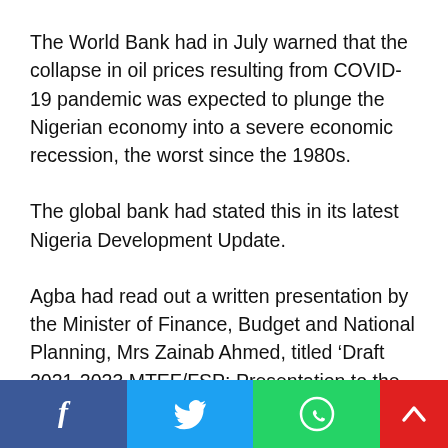The World Bank had in July warned that the collapse in oil prices resulting from COVID-19 pandemic was expected to plunge the Nigerian economy into a severe economic recession, the worst since the 1980s.
The global bank had stated this in its latest Nigeria Development Update.
Agba had read out a written presentation by the Minister of Finance, Budget and National Planning, Mrs Zainab Ahmed, titled ‘Draft 2021-2023 MTEF/FSP: Presentation to the House Finance Committee.’
[Figure (infographic): Social sharing footer bar with Facebook (blue), Twitter (light blue), WhatsApp (green), and scroll-up (red) buttons with respective icons]